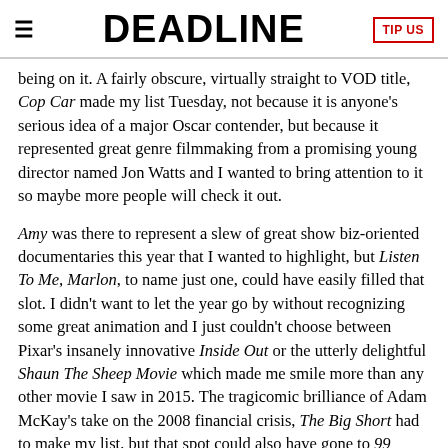DEADLINE
being on it. A fairly obscure, virtually straight to VOD title, Cop Car made my list Tuesday, not because it is anyone's serious idea of a major Oscar contender, but because it represented great genre filmmaking from a promising young director named Jon Watts and I wanted to bring attention to it so maybe more people will check it out.
Amy was there to represent a slew of great show biz-oriented documentaries this year that I wanted to highlight, but Listen To Me, Marlon, to name just one, could have easily filled that slot. I didn't want to let the year go by without recognizing some great animation and I just couldn't choose between Pixar's insanely innovative Inside Out or the utterly delightful Shaun The Sheep Movie which made me smile more than any other movie I saw in 2015. The tragicomic brilliance of Adam McKay's take on the 2008 financial crisis, The Big Short had to make my list, but that spot could also have gone to 99 Homes which tackled the same